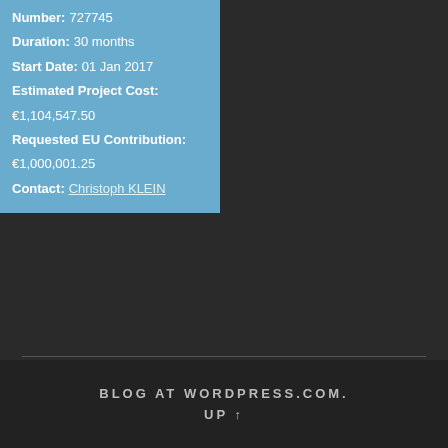Number: 727745
Duration: 30 months
Start Date: 01 Jan 2017
Estimated Project Cost:
€1,104,547.50
Requested EU Contribution:
€1,000,001.25
Contact: Christoph KLEIN
CONSORTIUM
Trillium II has a large consortium from all over Europe and the US. See all partners here.
BLOG AT WORDPRESS.COM.
UP ↑